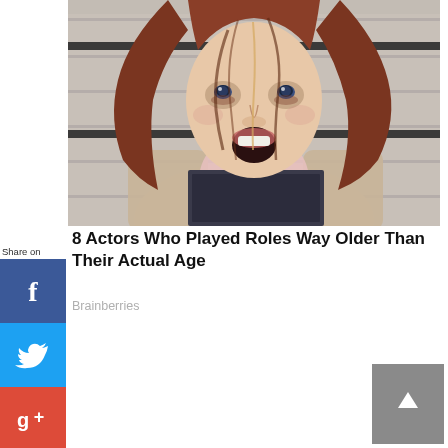[Figure (photo): Young woman with red/brown hair and wide eyes, mouth open in surprise, holding a dark placard, against a brick wall background — styled like a mugshot. Appears to be a character from a TV show.]
8 Actors Who Played Roles Way Older Than Their Actual Age
Brainberries
[Figure (infographic): Share on social media sidebar with Facebook, Twitter, Google+, LinkedIn, and Pinterest icons]